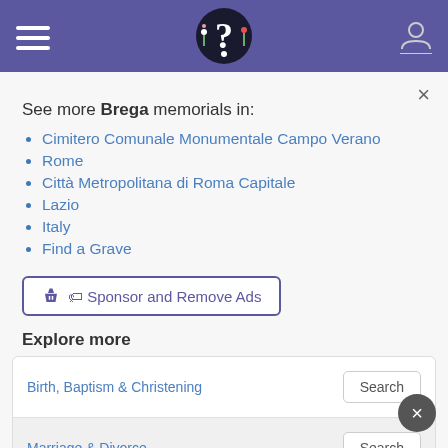FindAGrave navigation header with hamburger menu, logo, and user icon
× (close button)
See more Brega memorials in:
Cimitero Comunale Monumentale Campo Verano
Rome
Città Metropolitana di Roma Capitale
Lazio
Italy
Find a Grave
🏷 Sponsor and Remove Ads
Explore more
| Category | Action |
| --- | --- |
| Birth, Baptism & Christening | Search |
| Marriage & Divorce | Search |